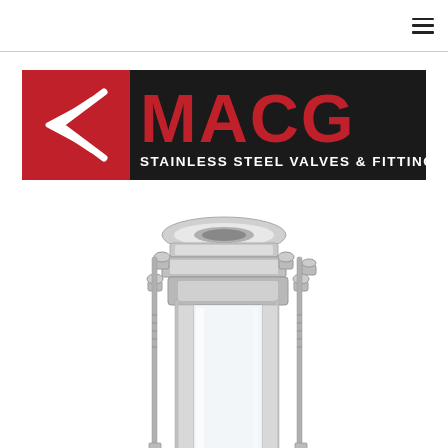Navigation menu icon (hamburger)
[Figure (logo): MACG Stainless Steel Valves & Fittings logo on dark background with red chevron/C mark and red MACG lettering, subtitle STAINLESS STEEL VALVES & FITTINGS in white]
[Figure (photo): Stainless steel sanitary sight glass or inline filter housing with tri-clamp top fitting, acorn nut bolts on flanged middle section, threaded rods, and cylindrical glass body — close-up product photo on white background]